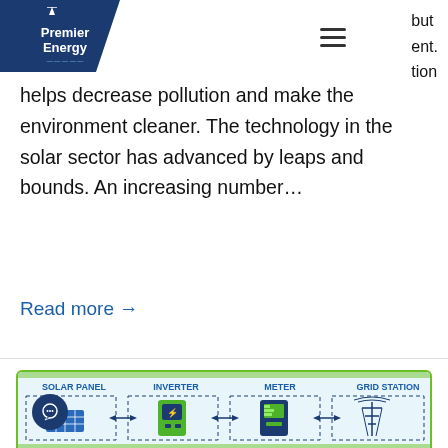Premier Energy
but
ent.
tion
helps decrease pollution and make the environment cleaner. The technology in the solar sector has advanced by leaps and bounds. An increasing number...
Read more →
[Figure (infographic): Solar energy system infographic showing components: Solar Panel, Inverter, Meter, Grid Station connected by bidirectional arrows. Illustrated with icons of each component.]